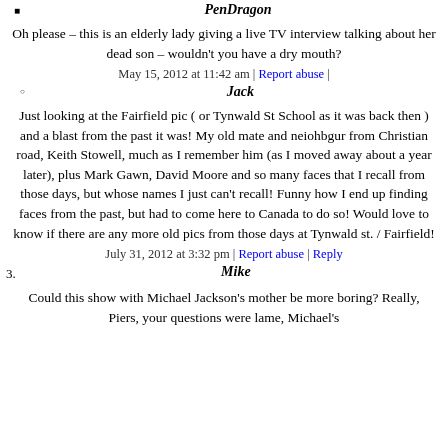PenDragon
Oh please – this is an elderly lady giving a live TV interview talking about her dead son – wouldn't you have a dry mouth?
May 15, 2012 at 11:42 am | Report abuse |
Jack
Just looking at the Fairfield pic ( or Tynwald St School as it was back then ) and a blast from the past it was! My old mate and neiohbgur from Christian road, Keith Stowell, much as I remember him (as I moved away about a year later), plus Mark Gawn, David Moore and so many faces that I recall from those days, but whose names I just can't recall! Funny how I end up finding faces from the past, but had to come here to Canada to do so! Would love to know if there are any more old pics from those days at Tynwald st. / Fairfield!
July 31, 2012 at 3:32 pm | Report abuse | Reply
Mike
Could this show with Michael Jackson's mother be more boring? Really, Piers, your questions were lame, Michael's